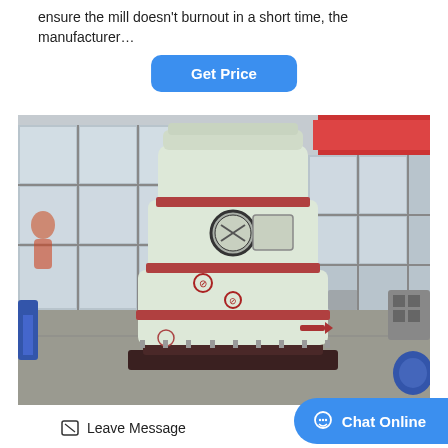ensure the mill doesn't burnout in a short time, the manufacturer…
Get Price
[Figure (photo): Large industrial grinding mill machine (Raymond mill) painted in cream/beige color with red accent bands, circular viewing window, and control panels, displayed in a factory/warehouse setting with industrial windows in background.]
Leave Message
Chat Online